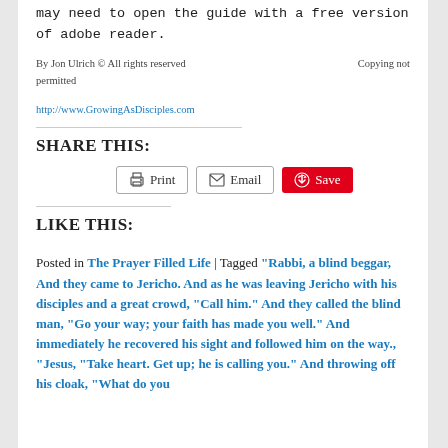may need to open the guide with a free version of adobe reader.
By Jon Ulrich © All rights reserved   Copying not permitted
http://www.GrowingAsDisciples.com
SHARE THIS:
Print  Email  Save
LIKE THIS:
Posted in The Prayer Filled Life | Tagged "Rabbi, a blind beggar, And they came to Jericho. And as he was leaving Jericho with his disciples and a great crowd, "Call him." And they called the blind man, "Go your way; your faith has made you well." And immediately he recovered his sight and followed him on the way., "Jesus, "Take heart. Get up; he is calling you."  And throwing off his cloak, "What do you